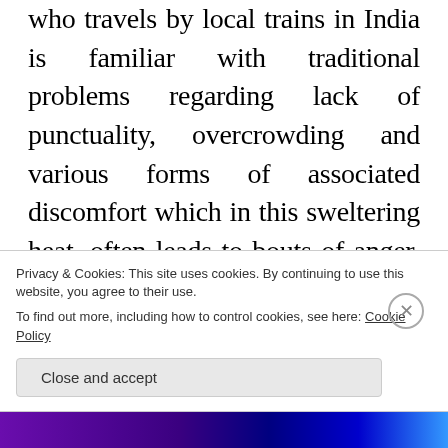who travels by local trains in India is familiar with traditional problems regarding lack of punctuality, overcrowding and various forms of associated discomfort which in this sweltering heat, often leads to bouts of anger, name calling and even occasional pushing and shoving. But what happened here was rather different. The seated youths had even offered a seat to an old man of the outraged group in an effort to
Privacy & Cookies: This site uses cookies. By continuing to use this website, you agree to their use.
To find out more, including how to control cookies, see here: Cookie Policy